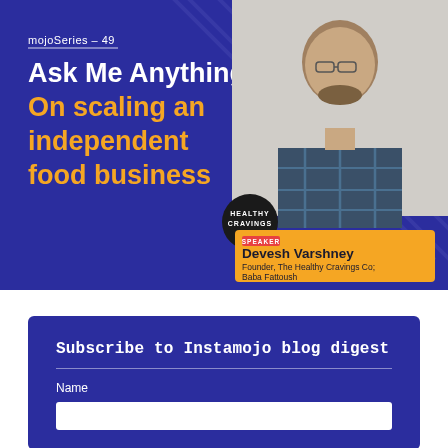[Figure (infographic): mojoSeries promotional banner with dark blue background, diagonal stripe pattern, speaker photo, title 'Ask Me Anything: On scaling an independent food business', and speaker card for Devesh Varshney, Founder of The Healthy Cravings Co, Baba Fattoush]
Subscribe to Instamojo blog digest
Name